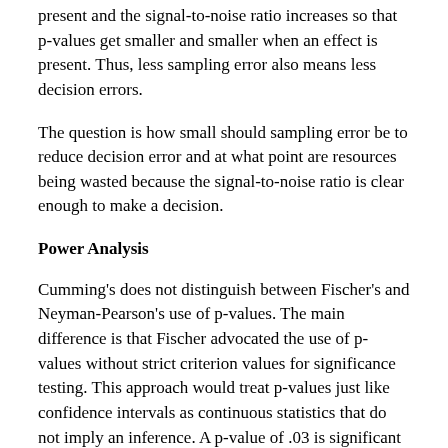present and the signal-to-noise ratio increases so that p-values get smaller and smaller when an effect is present. Thus, less sampling error also means less decision errors.
The question is how small should sampling error be to reduce decision error and at what point are resources being wasted because the signal-to-noise ratio is clear enough to make a decision.
Power Analysis
Cumming's does not distinguish between Fischer's and Neyman-Pearson's use of p-values. The main difference is that Fischer advocated the use of p-values without strict criterion values for significance testing. This approach would treat p-values just like confidence intervals as continuous statistics that do not imply an inference. A p-value of .03 is significant with a criterion value of .05, but it is not significant with a criterion value of .01.